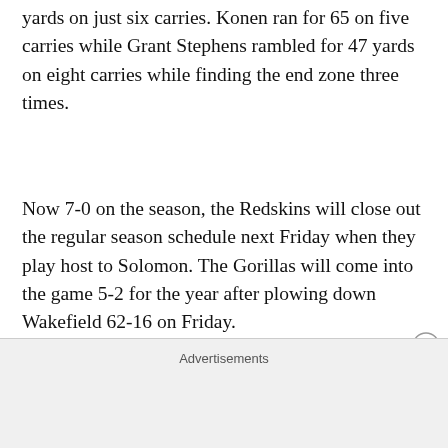yards on just six carries. Konen ran for 65 on five carries while Grant Stephens rambled for 47 yards on eight carries while finding the end zone three times.
Now 7-0 on the season, the Redskins will close out the regular season schedule next Friday when they play host to Solomon. The Gorillas will come into the game 5-2 for the year after plowing down Wakefield 62-16 on Friday.
LITTLE RIVER REDSKINS at Herington
Advertisements